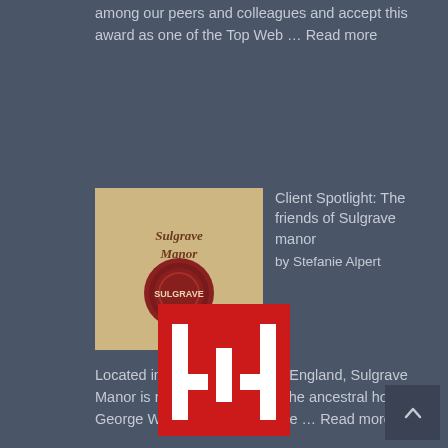among our peers and colleagues and accept this award as one of the Top Web … Read more
[Figure (photo): Book or document cover with cursive text 'Sulgrave Manor' and a red wax seal]
Client Spotlight: The friends of Sulgrave manor
by Stefanie Alpert
Located in Northamptonshire, England, Sulgrave Manor is rich in history as it's the ancestral home of George Washington. Noting the … Read more
LET'S TALK
[Figure (logo): Red square logo with white W letter made of pixel-style blocks]
[Figure (other): Dark square button with upward-pointing caret arrow]